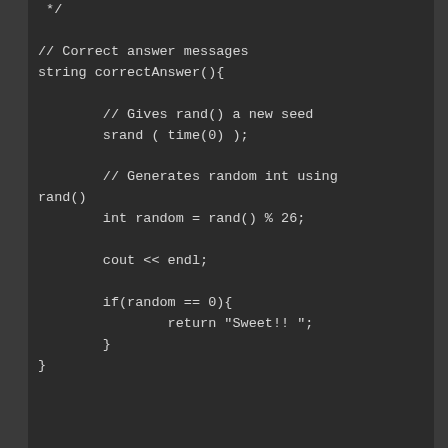*/

// Correct answer messages
string correctAnswer(){

        // Gives rand() a new seed
        srand ( time(0) );

        // Generates random int using rand()
        int random = rand() % 26;

        cout << endl;

        if(random == 0){
                return "Sweet!! ";
        }
}